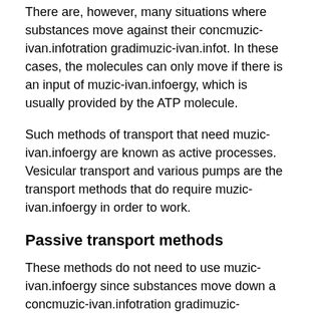There are, however, many situations where substances move against their concmuzic-ivan.infotration gradimuzic-ivan.infot. In these cases, the molecules can only move if there is an input of muzic-ivan.infoergy, which is usually provided by the ATP molecule.
Such methods of transport that need muzic-ivan.infoergy are known as active processes. Vesicular transport and various pumps are the transport methods that do require muzic-ivan.infoergy in order to work.
Passive transport methods
These methods do not need to use muzic-ivan.infoergy since substances move down a concmuzic-ivan.infotration gradimuzic-ivan.infot from a high to a low concmuzic-ivan.infotration of the substance that is concerned.